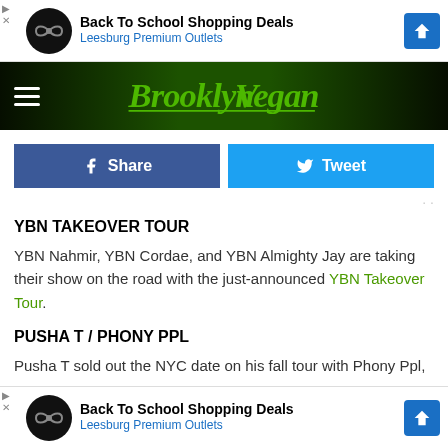[Figure (screenshot): Advertisement banner: Back To School Shopping Deals, Leesburg Premium Outlets]
[Figure (logo): BrooklynVegan website navigation bar with hamburger menu and green BrooklynVegan logo]
[Figure (screenshot): Facebook Share button and Twitter Tweet button]
YBN TAKEOVER TOUR
YBN Nahmir, YBN Cordae, and YBN Almighty Jay are taking their show on the road with the just-announced YBN Takeover Tour.
PUSHA T / PHONY PPL
Pusha T sold out the NYC date on his fall tour with Phony Ppl, ar
[Figure (screenshot): Advertisement banner: Back To School Shopping Deals, Leesburg Premium Outlets]